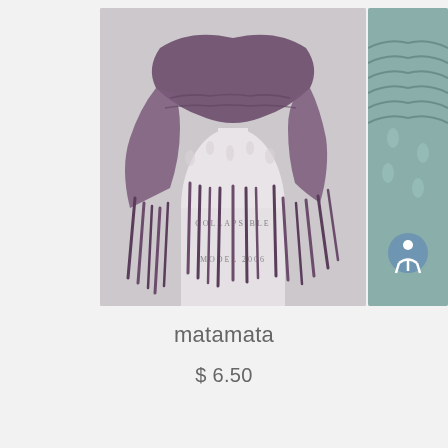[Figure (photo): A purple/mauve knitted shawl with long fringe tassels draped on a white collapsible dress form mannequin labeled 'COLLAPSIBLE MODEL 2006'. The shawl has an open lace-like knit pattern with long dangling strands hanging down.]
[Figure (photo): Partial view of a teal/green knitted garment on the right side of the image, partially cropped.]
matamata
$ 6.50